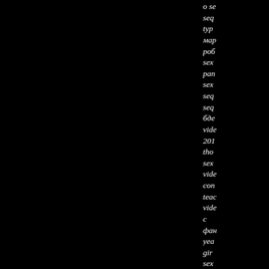о se seq typ мар роб sex pan sex seq seq бде vide 201 tho sex vide con teac vide с фан yea gir sex seq